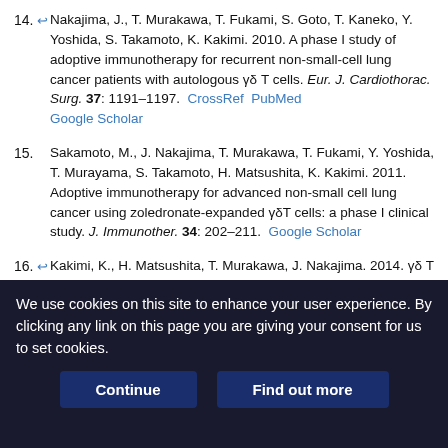14. Nakajima, J., T. Murakawa, T. Fukami, S. Goto, T. Kaneko, Y. Yoshida, S. Takamoto, K. Kakimi. 2010. A phase I study of adoptive immunotherapy for recurrent non-small-cell lung cancer patients with autologous γδ T cells. Eur. J. Cardiothorac. Surg. 37: 1191–1197. CrossRef PubMed Google Scholar
15. Sakamoto, M., J. Nakajima, T. Murakawa, T. Fukami, Y. Yoshida, T. Murayama, S. Takamoto, H. Matsushita, K. Kakimi. 2011. Adoptive immunotherapy for advanced non-small cell lung cancer using zoledronate-expanded γδT cells: a phase I clinical study. J. Immunother. 34: 202–211. Google Scholar
16. Kakimi, K., H. Matsushita, T. Murakawa, J. Nakajima. 2014. γδ T cell therapy for the treatment of non-small cell lung cancer. Transl. Lung Cancer Res. 3: 23–33. Google Scholar
17. Kobayashi, H., Y. Tanaka, J. Yagi, N. Minato, K. Tanabe. 2011. Phase I/II
We use cookies on this site to enhance your user experience. By clicking any link on this page you are giving your consent for us to set cookies.